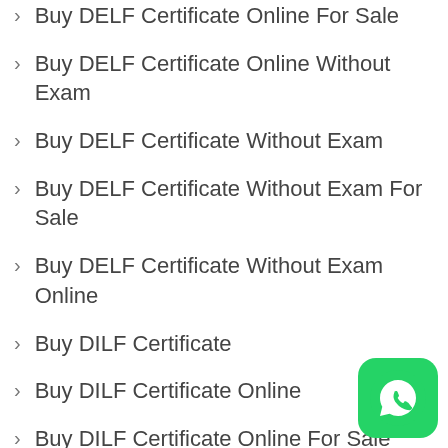Buy DELF Certificate Online For Sale
Buy DELF Certificate Online Without Exam
Buy DELF Certificate Without Exam
Buy DELF Certificate Without Exam For Sale
Buy DELF Certificate Without Exam Online
Buy DILF Certificate
Buy DILF Certificate Online
Buy DILF Certificate Online For Sale
Buy DILF Certificate Online Without Exam
Buy DILF Certificate Without Exam
Buy DILF Certificate Without Exam